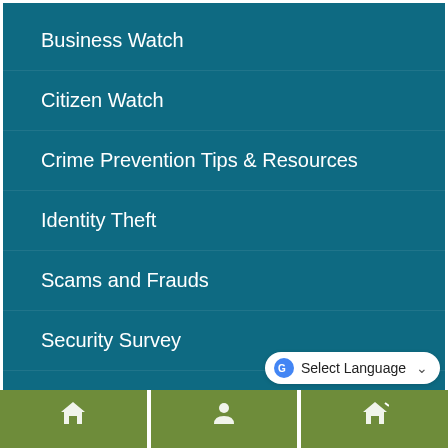Business Watch
Citizen Watch
Crime Prevention Tips & Resources
Identity Theft
Scams and Frauds
Security Survey
Vacation Watch
Select Language
[Figure (infographic): Three green panels at the bottom with white icons (house/person icons partially visible)]